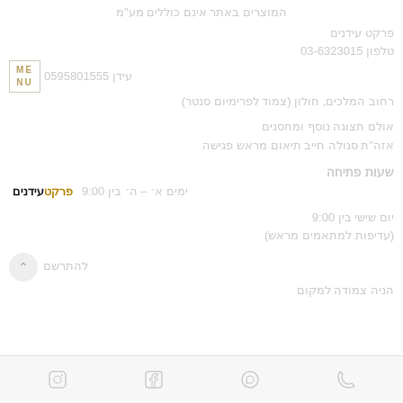המוצרים באתר אינם כוללים מע"מ
פרקט עידנים
טלפון 03-6323015
עידן 0595801555
[Figure (logo): Menu logo box with text ME NU in gold]
רחוב המלכים, חולון (צמוד לפרימיום סנטר)
אולם תצוגה נוסף ומחסנים
אזה"ת סגולה חייב תיאום מראש פגישה
שעות פתיחה
ימים א' – ה' בין 9:00-18:00
[Figure (logo): Parket Idanim brand logo in brown and black]
יום שישי בין 9:00-14:00
(עדיפות למתאמים מראש)
להתרשם
הניה צמודה למקום
Phone | WhatsApp | Facebook | Instagram